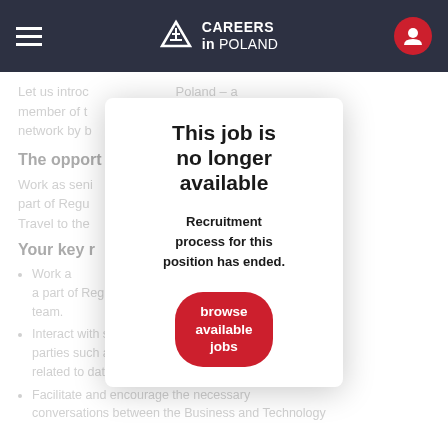Careers in Poland — navigation bar
Let us introc ... member of t ... network by b ...  Poland – a ... ery center
The opport
Work as seni ... ents as a part of Regu ... n team. Travel to the
Your key r
Work a ... or clients as a part of Regulatory Reporting BAU/Production team.
Interact with stakeholders (client and other third parties such as fund administrators) on matters related to data and production.
Facilitate and encourage the necessary conversations between the Business and Technology
This job is no longer available
Recruitment process for this position has ended.
browse available jobs